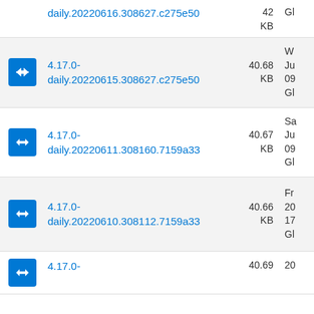4.17.0-daily.20220616.308627.c275e50 42 KB Gl
4.17.0-daily.20220615.308627.c275e50 40.68 KB Ju 09 Gl
4.17.0-daily.20220611.308160.7159a33 40.67 KB Sa Ju 09 Gl
4.17.0-daily.20220610.308112.7159a33 40.66 KB Fr 20 17 Gl
4.17.0- 40.69 20